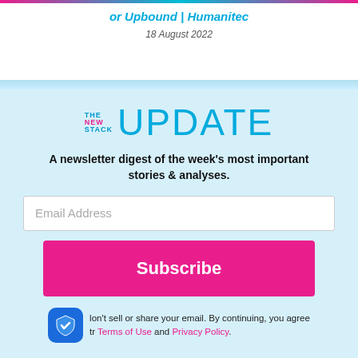or Upbound | Humanitec
18 August 2022
[Figure (logo): The New Stack UPDATE newsletter logo with pink and blue branding]
A newsletter digest of the week's most important stories & analyses.
Email Address
Subscribe
don't sell or share your email. By continuing, you agree r Terms of Use and Privacy Policy.